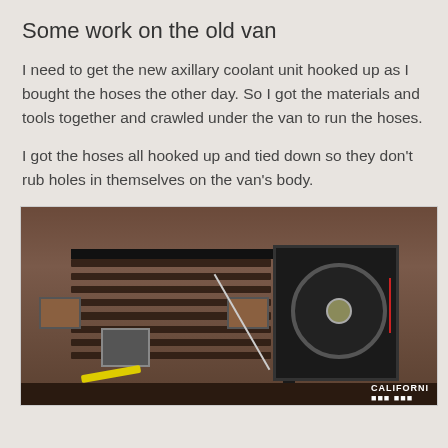Some work on the old van
I need to get the new axillary coolant unit hooked up as I bought the hoses the other day. So I got the materials and tools together and crawled under the van to run the hoses.
I got the hoses all hooked up and tied down so they don’t rub holes in themselves on the van’s body.
[Figure (photo): Front view of an old van showing the grille, headlights, and an auxiliary coolant/fan unit mounted on the right side. There is a large black electric fan with red wiring visible, mounted to the front frame. Tools and components are visible near the bottom left. A California license plate is partially visible at the bottom right.]